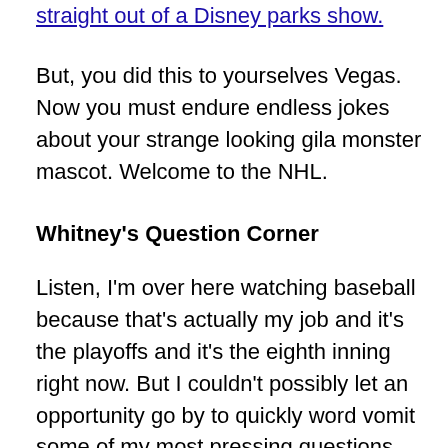straight out of a Disney parks show.
But, you did this to yourselves Vegas. Now you must endure endless jokes about your strange looking gila monster mascot. Welcome to the NHL.
Whitney's Question Corner
Listen, I'm over here watching baseball because that's actually my job and it's the playoffs and it's the eighth inning right now. But I couldn't possibly let an opportunity go by to quickly word vomit some of my most pressing questions about this mascot reveal because I HAVE SO MANY QUESTIONS.
Why is it a Gila Monster when the team's name and logo is knight-based?